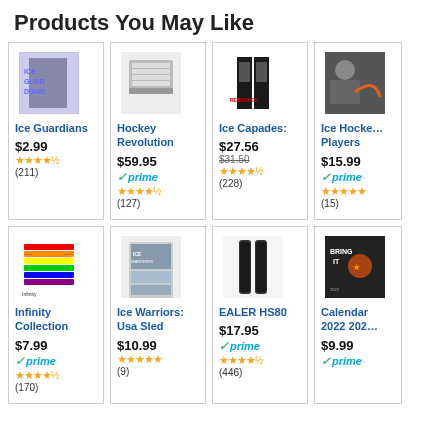Products You May Like
[Figure (screenshot): Ice Guardians product image]
Ice Guardians
$2.99
★★★★½ (211)
[Figure (screenshot): Hockey Revolution product image]
Hockey Revolution
$59.95
✓prime
★★★★½ (127)
[Figure (screenshot): Ice Capades product image]
Ice Capades:
$27.56
$31.50
★★★★½ (228)
[Figure (screenshot): Ice Hockey Players product image]
Ice Hockey Players
$15.99
✓prime
★★★★★ (15)
[Figure (screenshot): Infinity Collection product image]
Infinity Collection
$7.99
✓prime
★★★★½ (170)
[Figure (screenshot): Ice Warriors: Usa Sled product image]
Ice Warriors: Usa Sled
$10.99
★★★★★ (9)
[Figure (screenshot): EALER HS80 product image]
EALER HS80
$17.95
✓prime
★★★★½ (446)
[Figure (screenshot): Calendar 2022 2023 product image]
Calendar 2022 202...
$9.99
✓prime